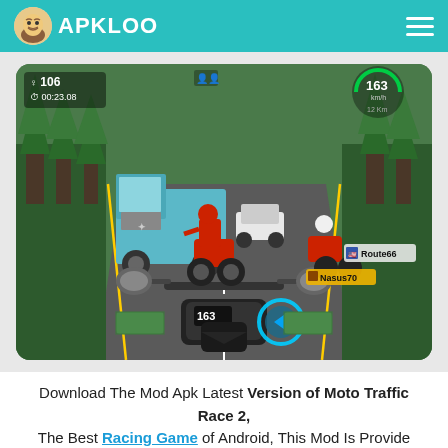APKLOO
[Figure (screenshot): Screenshot of Moto Traffic Race 2 mobile game showing first-person motorcycle riding perspective on a highway with trucks, cars, and other motorcyclists. Game HUD shows speed 163 km/h, player count 106, timer 00:23.08, and player labels Route66 and Nasus70.]
Download The Mod Apk Latest Version of Moto Traffic Race 2, The Best Racing Game of Android, This Mod Is Provide Unlimited Money, Unlocked All Levels, Free Shopping, Ads